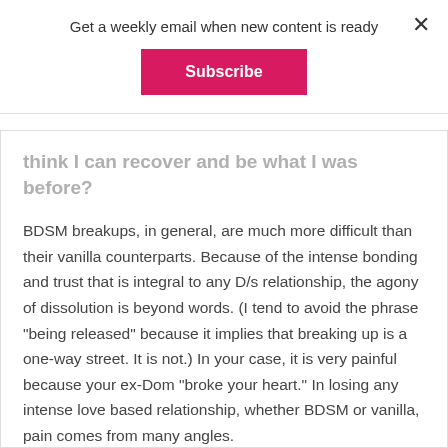Get a weekly email when new content is ready
Subscribe
think I can recover and be what I was before?
BDSM breakups, in general, are much more difficult than their vanilla counterparts. Because of the intense bonding and trust that is integral to any D/s relationship, the agony of dissolution is beyond words. (I tend to avoid the phrase "being released" because it implies that breaking up is a one-way street. It is not.) In your case, it is very painful because your ex-Dom "broke your heart." In losing any intense love based relationship, whether BDSM or vanilla, pain comes from many angles.